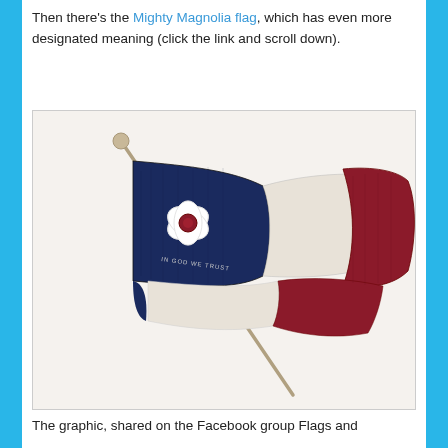Then there's the Mighty Magnolia flag, which has even more designated meaning (click the link and scroll down).
[Figure (illustration): Illustration of the Mighty Magnolia flag — a waving flag on a flagpole with three sections: a dark navy/blue canton featuring a white magnolia flower with a red center and text 'IN GOD WE TRUST', a white middle stripe, and a red right section. The flag is drawn in a vintage engraving style.]
The graphic, shared on the Facebook group Flags and